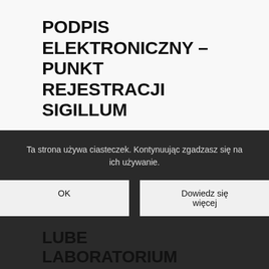PODPIS ELEKTRONICZNY – PUNKT REJESTRACJI SIGILLUM
W czerwcu 2019 roku rozpoczęliśmy współpracę z Polską Wytwórnią Papierów Wartościowych S.A. w zakresie prowadzenia Punktu Rejestracji, w którym od maja 2019 r. wydawane będą certyfikaty w infrastrukturze klucza publicznego Centrum Usług Zaufania Sigillum.
CZERWIEC 30, 2019 AUTOR ADMIN
Ta strona używa ciasteczek. Kontynuując zgadzasz się na ich używanie.
LUBE... LABORATORIUM OTWARTYCH INNOWACJI